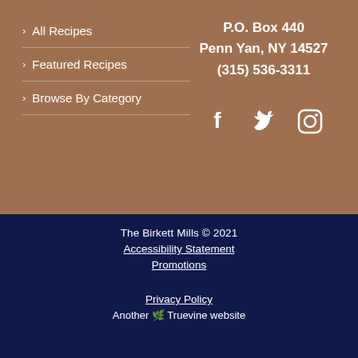> All Recipes
> Featured Recipes
> Browse By Category
P.O. Box 440
Penn Yan, NY 14527
(315) 536-3311
[Figure (illustration): Social media icons: Facebook, Twitter, Instagram]
The Birkett Mills © 2021
Accessibility Statement
Promotions
Privacy Policy
Another 🌿 Truevine website